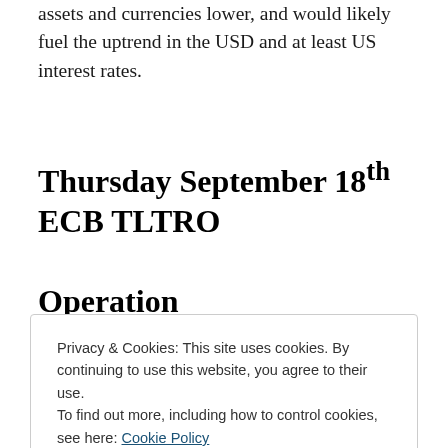assets and currencies lower, and would likely fuel the uptrend in the USD and at least US interest rates.
Thursday September 18th ECB TLTRO Operation
Privacy & Cookies: This site uses cookies. By continuing to use this website, you agree to their use.
To find out more, including how to control cookies, see here: Cookie Policy
Close and accept